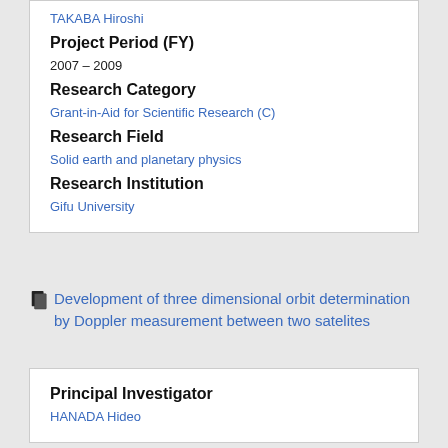TAKABA Hiroshi
Project Period (FY)
2007 – 2009
Research Category
Grant-in-Aid for Scientific Research (C)
Research Field
Solid earth and planetary physics
Research Institution
Gifu University
Development of three dimensional orbit determination by Doppler measurement between two satelites
Principal Investigator
HANADA Hideo